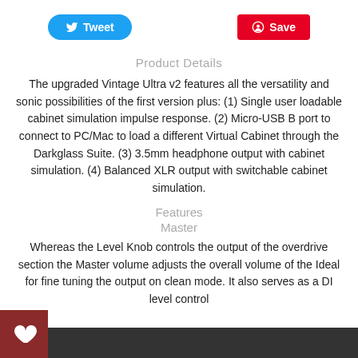[Figure (other): Tweet button (blue rounded) and Save button (red) at top]
Product Details
The upgraded Vintage Ultra v2 features all the versatility and sonic possibilities of the first version plus: (1) Single user loadable cabinet simulation impulse response. (2) Micro-USB B port to connect to PC/Mac to load a different Virtual Cabinet through the Darkglass Suite. (3) 3.5mm headphone output with cabinet simulation. (4) Balanced XLR output with switchable cabinet simulation.
Features
Master
Whereas the Level Knob controls the output of the overdrive section the Master volume adjusts the overall volume of the Ideal for fine tuning the output on clean mode. It also serves as a DI level control